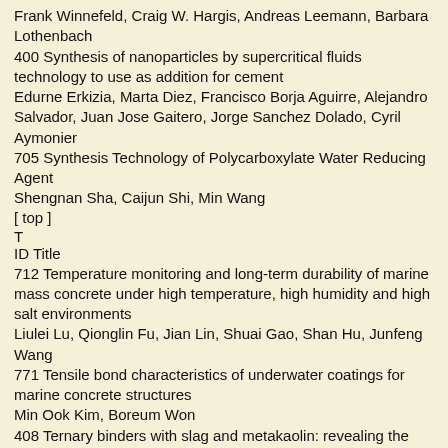Frank Winnefeld, Craig W. Hargis, Andreas Leemann, Barbara Lothenbach
400 Synthesis of nanoparticles by supercritical fluids technology to use as addition for cement
Edurne Erkizia, Marta Diez, Francisco Borja Aguirre, Alejandro Salvador, Juan Jose Gaitero, Jorge Sanchez Dolado, Cyril Aymonier
705 Synthesis Technology of Polycarboxylate Water Reducing Agent
Shengnan Sha, Caijun Shi, Min Wang
[ top ]
T
ID Title
712 Temperature monitoring and long-term durability of marine mass concrete under high temperature, high humidity and high salt environments
Liulei Lu, Qionglin Fu, Jian Lin, Shuai Gao, Shan Hu, Junfeng Wang
771 Tensile bond characteristics of underwater coatings for marine concrete structures
Min Ook Kim, Boreum Won
408 Ternary binders with slag and metakaolin: revealing the